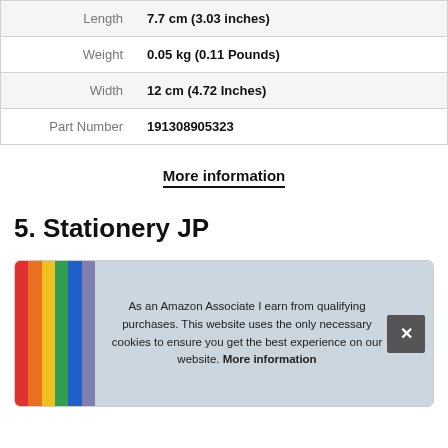| Attribute | Value |
| --- | --- |
| Length | 7.7 cm (3.03 inches) |
| Weight | 0.05 kg (0.11 Pounds) |
| Width | 12 cm (4.72 Inches) |
| Part Number | 191308905323 |
More information
5. Stationery JP
As an Amazon Associate I earn from qualifying purchases. This website uses the only necessary cookies to ensure you get the best experience on our website. More information